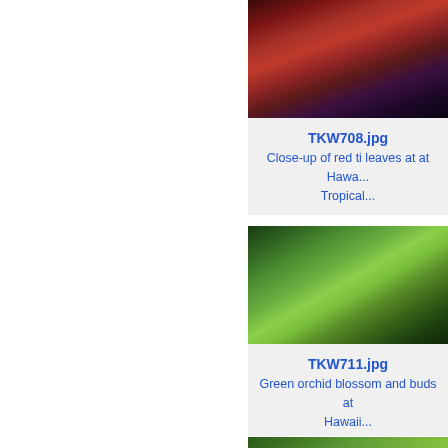[Figure (photo): Close-up photo of red ti leaves at Hawaii Tropical botanical garden]
TKW708.jpg
Close-up of red ti leaves at at Hawa... Tropical...
[Figure (photo): Green orchid blossom and buds at Hawaii]
TKW711.jpg
Green orchid blossom and buds at Hawaii...
[Figure (photo): Partial view of another tropical plant photo at bottom of page]